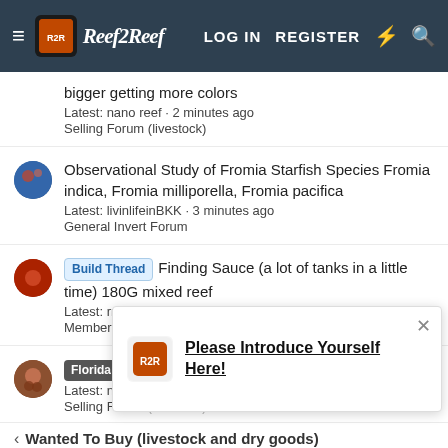Reef2Reef | LOG IN | REGISTER
bigger getting more colors
Latest: nano reef · 2 minutes ago
Selling Forum (livestock)
Observational Study of Fromia Starfish Species Fromia indica, Fromia milliporella, Fromia pacifica
Latest: livinlifeinBKK · 3 minutes ago
General Invert Forum
[Build Thread] Finding Sauce (a lot of tanks in a little time) 180G mixed reef
Latest: rmorris_14 · 4 minutes ago
Member Tanks
[Florida] [Live Goods] OG Bounce - Apopka, FL
Latest: nano reef · 4 minutes ago
Selling Forum
Please Introduce Yourself Here!
Wanted To Buy (livestock and dry goods)